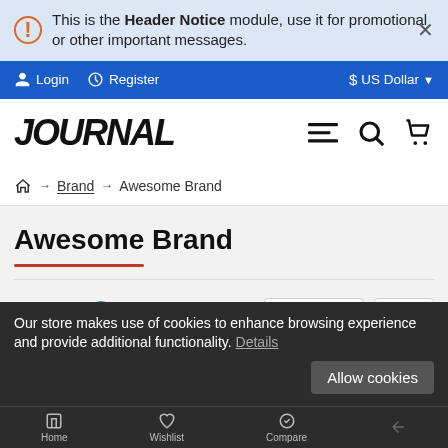This is the Header Notice module, use it for promotional or other important messages.
Login  Register  $ US Dollar
[Figure (logo): JOURNAL logo in bold black uppercase text with navigation icons (menu, search, cart)]
Home → Brand → Awesome Brand
Awesome Brand
Default  12 (sort/view controls)
Our store makes use of cookies to enhance browsing experience and provide additional functionality. Details
Home  Wishlist  Compare  Allow cookies